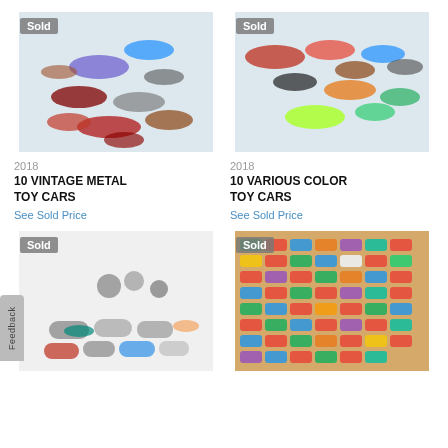[Figure (photo): Photo of 10 vintage metal toy cars spread on white fabric background, with 'Sold' badge in top-left corner]
[Figure (photo): Photo of 10 various color toy cars spread on white fabric background, with 'Sold' badge in top-left corner]
2018
10 VINTAGE METAL TOY CARS
See Sold Price
2018
10 VARIOUS COLOR TOY CARS
See Sold Price
[Figure (photo): Photo of various small toy vehicles and figurines on white background, with 'Sold' badge in top-left corner]
[Figure (photo): Photo of large collection of colorful toy cars arranged in a box, with 'Sold' badge in top-left corner]